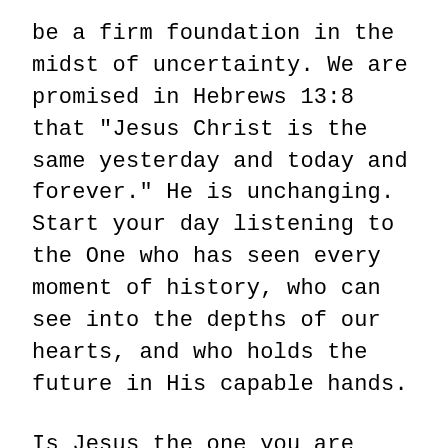be a firm foundation in the midst of uncertainty. We are promised in Hebrews 13:8 that "Jesus Christ is the same yesterday and today and forever." He is unchanging. Start your day listening to the One who has seen every moment of history, who can see into the depths of our hearts, and who holds the future in His capable hands.
Is Jesus the one you are turning to first? Are His words in Scripture saturating your mind each and every day? Many of the ways in which you